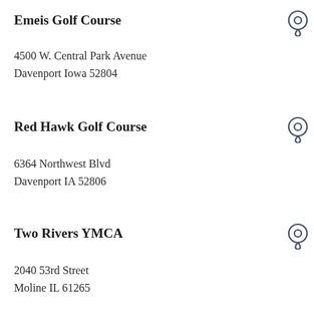Emeis Golf Course
4500 W. Central Park Avenue
Davenport Iowa 52804
Red Hawk Golf Course
6364 Northwest Blvd
Davenport IA 52806
Two Rivers YMCA
2040 53rd Street
Moline IL 61265